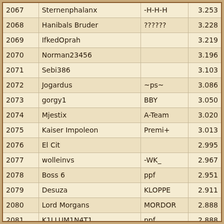| Rank | Name | Clan | Score |
| --- | --- | --- | --- |
| 2067 | Sternenphalanx | -H-H-H | 3.253 |
| 2068 | Hanibals Bruder | ?????? | 3.228 |
| 2069 | IfkedOprah |  | 3.219 |
| 2070 | Norman23456 |  | 3.196 |
| 2071 | Sebi386 |  | 3.103 |
| 2072 | Jogardus | ~ps~ | 3.086 |
| 2073 | gorgy1 | BBY | 3.050 |
| 2074 | Mjestix | A-Team | 3.020 |
| 2075 | Kaiser Impoleon | Premi+ | 3.013 |
| 2076 | El Cit |  | 2.995 |
| 2077 | wolleinvs | -WK_ | 2.967 |
| 2078 | Boss 6 | ppf | 2.951 |
| 2079 | Desuza | KLOPPE | 2.911 |
| 2080 | Lord Morgans | MORDOR | 2.888 |
| 2081 | K1LLUM1N4T1 | ppf | 2.888 |
| 2082 | joji | ~ps5~ | 2.850 |
| 2083 | Kummerkasten112 |  | 2.827 |
| 2084 | smej77 | _S_ | 2.820 |
| 2085 | Uxbridge | Hallo | 2.784 |
| 2086 | zäsä | WsN_ | 2.775 |